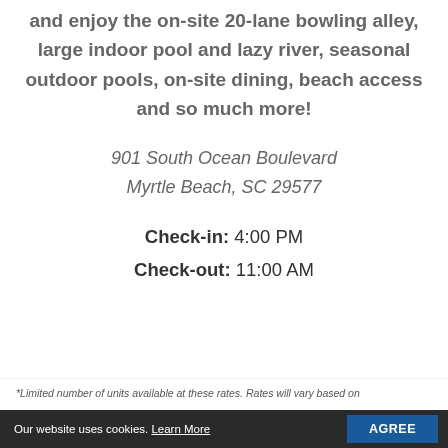and enjoy the on-site 20-lane bowling alley, large indoor pool and lazy river, seasonal outdoor pools, on-site dining, beach access and so much more!
901 South Ocean Boulevard
Myrtle Beach, SC 29577
Check-in: 4:00 PM
Check-out: 11:00 AM
*Limited number of units available at these rates. Rates will vary based on
Our website uses cookies. Learn More  AGREE